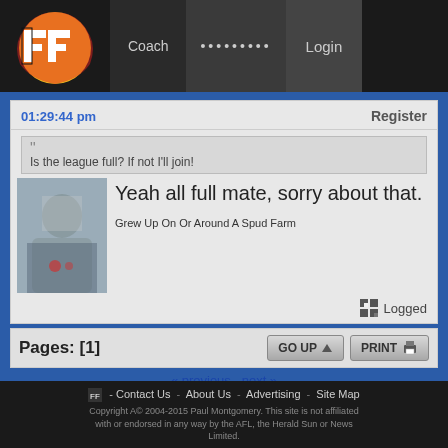FF Coach | ......... | Login
01:29:44 pm
Register
Is the league full?  If not I'll join!
Yeah all full mate, sorry about that.
Grew Up On Or Around A Spud Farm
Logged
Pages: [1]
GO UP
PRINT
« previous next »
Contact Us - About Us - Advertising - Site Map
Copyright A© 2004-2015 Paul Montgomery. This site is not affiliated with or endorsed in any way by the AFL, the Herald Sun or News Limited.